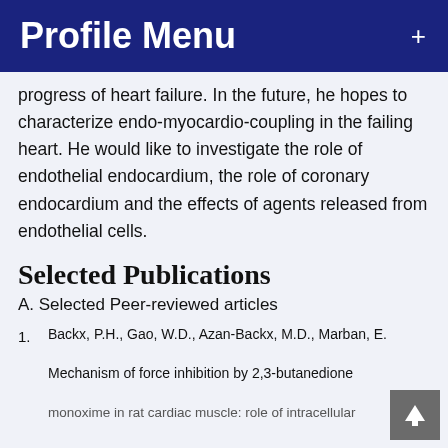Profile Menu +
progress of heart failure. In the future, he hopes to characterize endo-myocardio-coupling in the failing heart. He would like to investigate the role of endothelial endocardium, the role of coronary endocardium and the effects of agents released from endothelial cells.
Selected Publications
A. Selected Peer-reviewed articles
1. Backx, P.H., Gao, W.D., Azan-Backx, M.D., Marban, E. Mechanism of force inhibition by 2,3-butanedione monoxime in rat cardiac muscle: role of intracellular